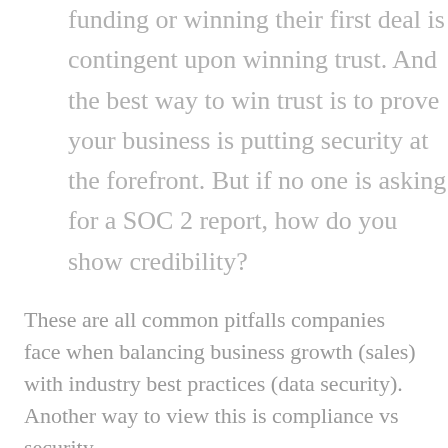funding or winning their first deal is contingent upon winning trust. And the best way to win trust is to prove your business is putting security at the forefront. But if no one is asking for a SOC 2 report, how do you show credibility?
These are all common pitfalls companies face when balancing business growth (sales) with industry best practices (data security). Another way to view this is compliance vs security.
As a startup ourselves, we recognize this challenge. So rather than force companies to choose between compliance and security,